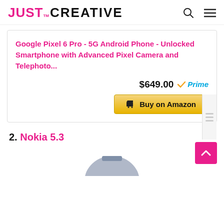[Figure (logo): Just Creative logo with pink JUST and black CREATIVE text]
Google Pixel 6 Pro - 5G Android Phone - Unlocked Smartphone with Advanced Pixel Camera and Telephoto...
$649.00 Prime
[Figure (other): Buy on Amazon button with gold/yellow background and shopping cart icon]
[Figure (other): Scroll to top button, pink with upward chevron]
2. Nokia 5.3
[Figure (photo): Partial image of a Nokia 5.3 smartphone]